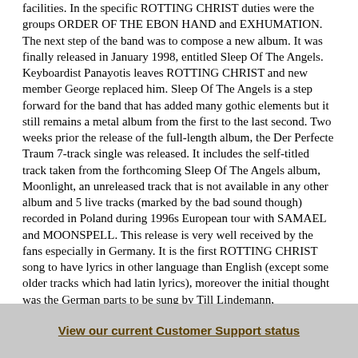facilities. In the specific ROTTING CHRIST duties were the groups ORDER OF THE EBON HAND and EXHUMATION. The next step of the band was to compose a new album. It was finally released in January 1998, entitled Sleep Of The Angels. Keyboardist Panayotis leaves ROTTING CHRIST and new member George replaced him. Sleep Of The Angels is a step forward for the band that has added many gothic elements but it still remains a metal album from the first to the last second. Two weeks prior the release of the full-length album, the Der Perfecte Traum 7-track single was released. It includes the self-titled track taken from the forthcoming Sleep Of The Angels album, Moonlight, an unreleased track that is not available in any other album and 5 live tracks (marked by the bad sound though) recorded in Poland during 1996s European tour with SAMAEL and MOONSPELL. This release is very well received by the fans especially in Germany. It is the first ROTTING CHRIST song to have lyrics in other language than English (except some older tracks which had latin lyrics), moreover the initial thought was the German parts to be sung by Till Lindemann, RAMMSTEIN vocalist! The fans reactions are once again overwhelming and ROTTING CHRISTs audience is broadened. Some older fans still complain about the fact that the band keeps composing music much different from its early material, but one can hear some elements of their black metal past in tracks like The World Made End or Delusions. Sleep Of The Angels remains a stunning album which leads the band to its first world tour ever. First comes a massive European tour with DEICIDE, ANCIENT RITES, AETERNUS and BEHEMOTH. Then ROTTING CHRIST travels to the USA for a multi-city tour. The band toured in a small personal van
View our current Customer Support status